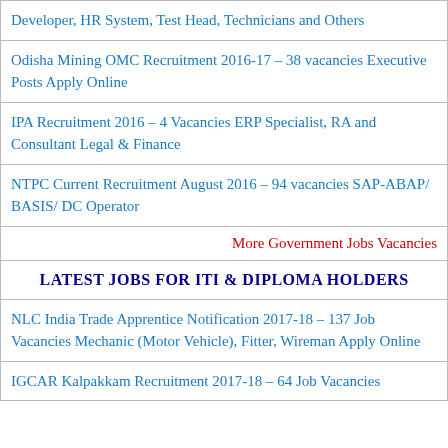Developer, HR System, Test Head, Technicians and Others
Odisha Mining OMC Recruitment 2016-17 – 38 vacancies Executive Posts Apply Online
IPA Recruitment 2016 – 4 Vacancies ERP Specialist, RA and Consultant Legal & Finance
NTPC Current Recruitment August 2016 – 94 vacancies SAP-ABAP/ BASIS/ DC Operator
More Government Jobs Vacancies
LATEST JOBS FOR ITI & DIPLOMA HOLDERS
NLC India Trade Apprentice Notification 2017-18 – 137 Job Vacancies Mechanic (Motor Vehicle), Fitter, Wireman Apply Online
IGCAR Kalpakkam Recruitment 2017-18 – 64 Job Vacancies